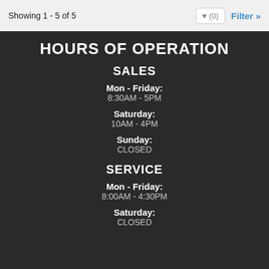Showing 1 - 5 of 5
HOURS OF OPERATION
SALES
Mon - Friday:
8:30AM - 5PM
Saturday:
10AM - 4PM
Sunday:
CLOSED
SERVICE
Mon - Friday:
8:00AM - 4:30PM
Saturday:
CLOSED